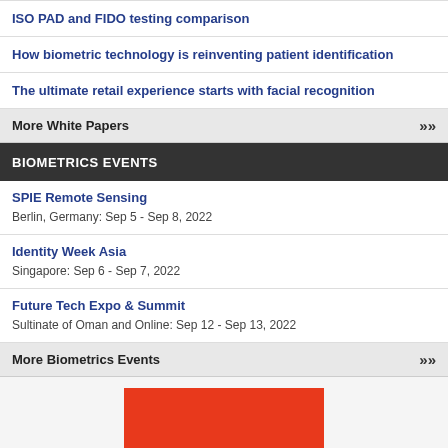ISO PAD and FIDO testing comparison
How biometric technology is reinventing patient identification
The ultimate retail experience starts with facial recognition
More White Papers >>>
BIOMETRICS EVENTS
SPIE Remote Sensing
Berlin, Germany: Sep 5 - Sep 8, 2022
Identity Week Asia
Singapore: Sep 6 - Sep 7, 2022
Future Tech Expo & Summit
Sultinate of Oman and Online: Sep 12 - Sep 13, 2022
More Biometrics Events >>>
[Figure (other): Red advertisement banner at bottom of page]